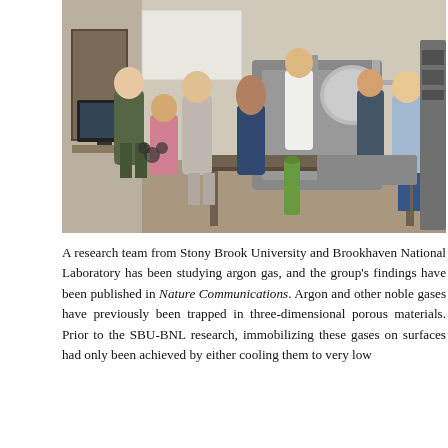[Figure (photo): A research team of seven people posing in a laboratory setting with scientific equipment including vacuum chambers and other instruments. The team is from Stony Brook University and Brookhaven National Laboratory.]
A research team from Stony Brook University and Brookhaven National Laboratory has been studying argon gas, and the group's findings have been published in Nature Communications. Argon and other noble gases have previously been trapped in three-dimensional porous materials. Prior to the SBU-BNL research, immobilizing these gases on surfaces had only been achieved by either cooling them to very low